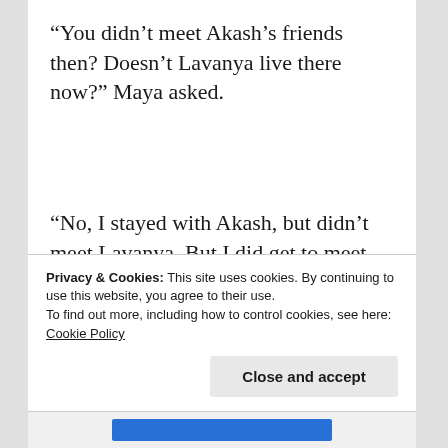“You didn’t meet Akash’s friends then? Doesn’t Lavanya live there now?” Maya asked.
“No, I stayed with Akash, but didn’t meet Lavanya. But I did get to meet one of his other friends. Actually the wife of one of his friends.” Arnav leaned forward and clasped his palms together. He sighed and said, “NK.” He met Maya’s glance briefly but looked away as he continued. “Naren
Privacy & Cookies: This site uses cookies. By continuing to use this website, you agree to their use.
To find out more, including how to control cookies, see here: Cookie Policy